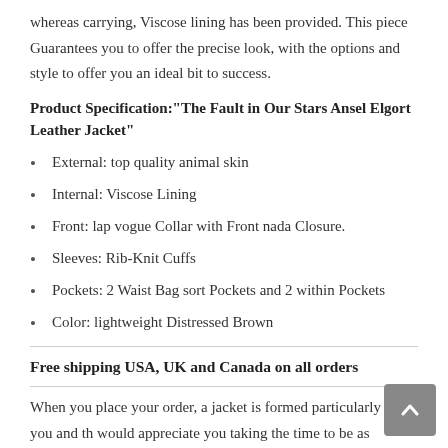whereas carrying, Viscose lining has been provided. This piece Guarantees you to offer the precise look, with the options and style to offer you an ideal bit to success.
Product Specification:"The Fault in Our Stars Ansel Elgort Leather Jacket"
External: top quality animal skin
Internal: Viscose Lining
Front: lap vogue Collar with Front nada Closure.
Sleeves: Rib-Knit Cuffs
Pockets: 2 Waist Bag sort Pockets and 2 within Pockets
Color: lightweight Distressed Brown
Free shipping USA, UK and Canada on all orders
When you place your order, a jacket is formed particularly for you and th would appreciate you taking the time to be as positive as you'll in selecting the dimensions you would like. we tend to are aware of it isn't straightforward to